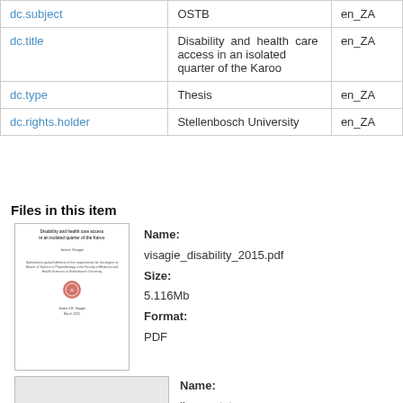|  |  |  |
| --- | --- | --- |
| dc.subject | OSTB | en_ZA |
| dc.title | Disability and health care access in an isolated quarter of the Karoo | en_ZA |
| dc.type | Thesis | en_ZA |
| dc.rights.holder | Stellenbosch University | en_ZA |
Files in this item
[Figure (photo): Thumbnail of thesis PDF cover page showing title, author, and university seal]
Name:
visagie_disability_2015.pdf
Size:
5.116Mb
Format:
PDF
[Figure (photo): Thumbnail of license.txt file (gray/blank)]
Name:
license.txt
Size: